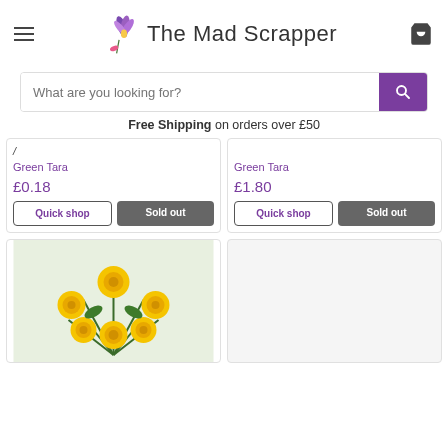The Mad Scrapper
What are you looking for?
Free Shipping on orders over £50
Green Tara
£0.18
Quick shop | Sold out
Green Tara
£1.80
Quick shop | Sold out
[Figure (photo): Yellow roses flower arrangement photo]
[Figure (photo): Placeholder / blank product image]